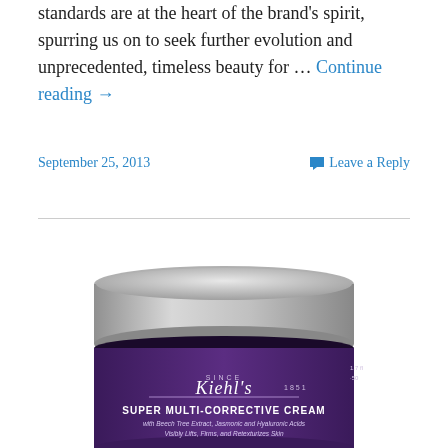standards are at the heart of the brand's spirit, spurring us on to seek further evolution and unprecedented, timeless beauty for … Continue reading →
September 25, 2013   Leave a Reply
[Figure (photo): A purple jar of Kiehl's Super Multi-Corrective Cream with a silver lid, labeled 'SINCE Kiehl's 1851', with text 'SUPER MULTI-CORRECTIVE CREAM with Beech Tree Extract, Jasmonic and Hyaluronic Acids – Visibly Lifts, Firms, and Retexturizes Skin']